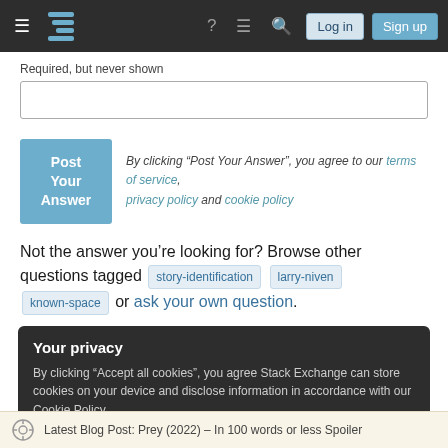Stack Exchange navigation header with logo, login, and sign up buttons
Required, but never shown
By clicking “Post Your Answer”, you agree to our terms of service, privacy policy and cookie policy
Not the answer you’re looking for? Browse other questions tagged story-identification larry-niven known-space or ask your own question.
Your privacy
By clicking “Accept all cookies”, you agree Stack Exchange can store cookies on your device and disclose information in accordance with our Cookie Policy.
Latest Blog Post: Prey (2022) – In 100 words or less Spoiler